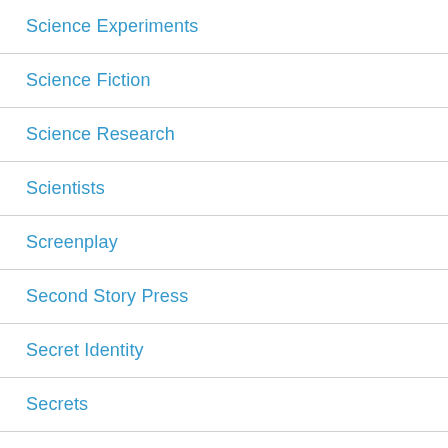Science Experiments
Science Fiction
Science Research
Scientists
Screenplay
Second Story Press
Secret Identity
Secrets
Self-care